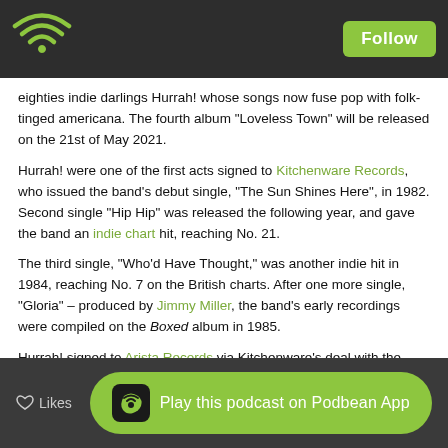Podbean podcast app header with WiFi logo and Follow button
eighties indie darlings Hurrah! whose songs now fuse pop with folk-tinged americana. The fourth album "Loveless Town" will be released on the 21st of May 2021.
Hurrah! were one of the first acts signed to Kitchenware Records, who issued the band's debut single, "The Sun Shines Here", in 1982. Second single "Hip Hip" was released the following year, and gave the band an indie chart hit, reaching No. 21.
The third single, "Who'd Have Thought," was another indie hit in 1984, reaching No. 7 on the British charts. After one more single, "Gloria" – produced by Jimmy Miller, the band's early recordings were compiled on the Boxed album in 1985.
Hurrah! signed to Arista Records via Kitchenware's deal with the major label, and the Tell God I'm Here album was re-released by the record company. On Arista's release, the future single "How Many Rivers" was re-recorded with new drummer Steve Price, and produced by Steve Brown.
Likes  Play this podcast on Podbean App